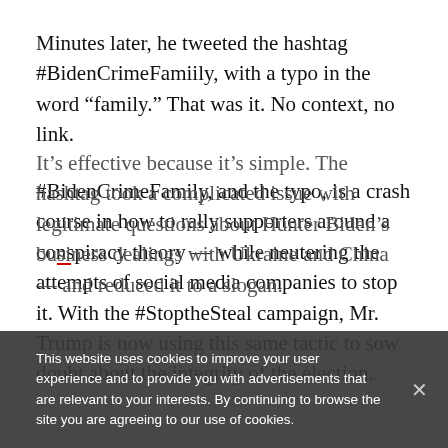Minutes later, he tweeted the hashtag #BidenCrimeFamiily, with a typo in the word “family.” That was it. No context, no link.
#BidenCrimeFamily, and the typo, is a crash course in how to rally supporters around a conspiracy theory — while neutering the attempts of social media companies to stop it. With the #StoptheSteal campaign, Mr. Trump is now using this same tactic to sow doubt about the integrity of the election.
It’s effective because it’s simple. The hashtag took a complicated issue with legitimate questions about Hunter Biden’s business dealings with Ukraine and China — and reduced it to a slogan.
This website uses cookies to improve your user experience and to provide you with advertisements that are relevant to your interests. By continuing to browse the site you are agreeing to our use of cookies.